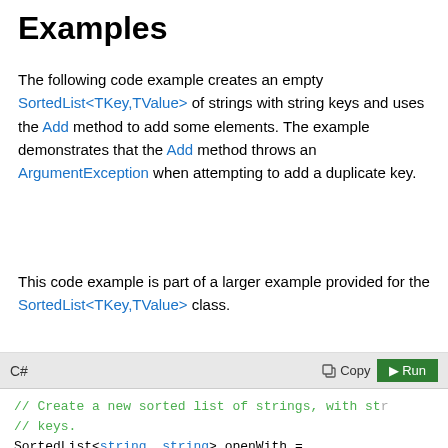Examples
The following code example creates an empty SortedList<TKey,TValue> of strings with string keys and uses the Add method to add some elements. The example demonstrates that the Add method throws an ArgumentException when attempting to add a duplicate key.
This code example is part of a larger example provided for the SortedList<TKey,TValue> class.
[Figure (screenshot): C# code block with header showing language label 'C#', Copy button, and Run button (green). Code shows: // Create a new sorted list of strings, with str... // keys. SortedList<string, string> openWith = new SortedList<string, string>(); // Add some elements to the list. There are no // duplicate keys, but some of the values are du... openWith.Add("txt", "notepad.exe");]